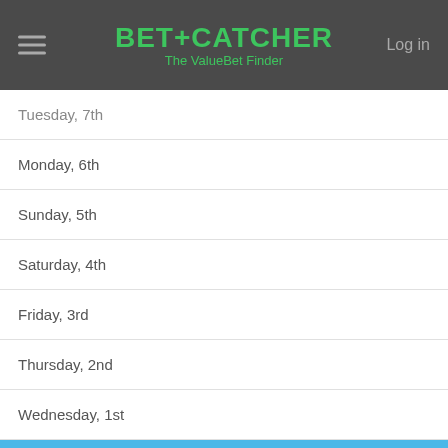BET+CATCHER The ValueBet Finder
Tuesday, 7th
Monday, 6th
Sunday, 5th
Saturday, 4th
Friday, 3rd
Thursday, 2nd
Wednesday, 1st
2020
Tuesday, 31st
Monday, 30th
Sunday, 29th
Saturday, 28th
Friday, 27th